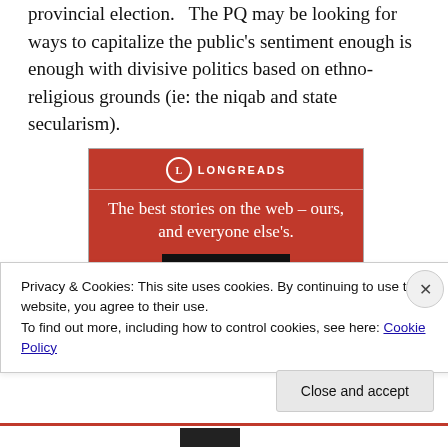provincial election.   The PQ may be looking for ways to capitalize the public's sentiment enough is enough with divisive politics based on ethno-religious grounds (ie: the niqab and state secularism).
[Figure (other): Longreads advertisement banner with red background. Logo circle with 'L', brand name 'LONGREADS', tagline 'The best stories on the web – ours, and everyone else's.' with a black 'Start reading' button.]
Privacy & Cookies: This site uses cookies. By continuing to use this website, you agree to their use.
To find out more, including how to control cookies, see here: Cookie Policy
Close and accept